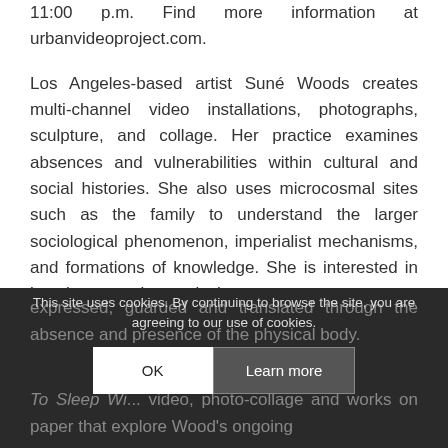11:00 p.m. Find more information at urbanvideoproject.com.
Los Angeles-based artist Suné Woods creates multi-channel video installations, photographs, sculpture, and collage. Her practice examines absences and vulnerabilities within cultural and social histories. She also uses microcosmal sites such as the family to understand the larger sociological phenomenon, imperialist mechanisms, and formations of knowledge. She is interested in how language is emotively expressed, guarded and translated through the absence and presence of the physical body.
To Sleep Wi... video, photo-collage and works on paper that explore Wood's ongoing
This site uses cookies. By continuing to browse the site, you are agreeing to our use of cookies.